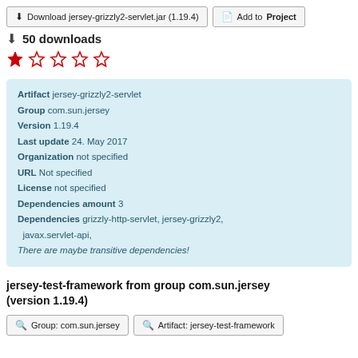Download jersey-grizzly2-servlet.jar (1.19.4)
Add to Project
50 downloads
★ ☆ ☆ ☆ ☆
| Artifact | jersey-grizzly2-servlet |
| Group | com.sun.jersey |
| Version | 1.19.4 |
| Last update | 24. May 2017 |
| Organization | not specified |
| URL | Not specified |
| License | not specified |
| Dependencies amount | 3 |
| Dependencies | grizzly-http-servlet, jersey-grizzly2, javax.servlet-api, |
|  | There are maybe transitive dependencies! |
jersey-test-framework from group com.sun.jersey (version 1.19.4)
Group: com.sun.jersey
Artifact: jersey-test-framework